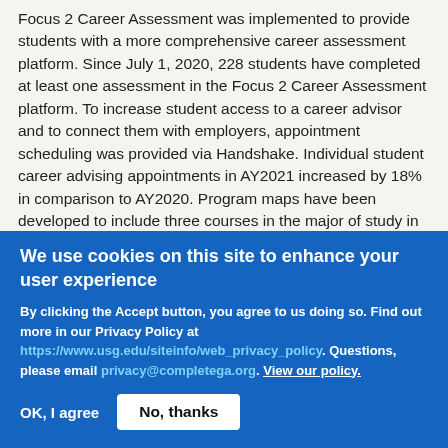Focus 2 Career Assessment was implemented to provide students with a more comprehensive career assessment platform. Since July 1, 2020, 228 students have completed at least one assessment in the Focus 2 Career Assessment platform. To increase student access to a career advisor and to connect them with employers, appointment scheduling was provided via Handshake. Individual student career advising appointments in AY2021 increased by 18% in comparison to AY2020. Program maps have been developed to include three courses in the major of study in the freshman year, 15
We use cookies on this site to enhance your user experience
By clicking the Accept button, you agree to us doing so. Find out more in our Privacy Policy at https://www.usg.edu/siteinfo/web_privacy_policy. Questions, please email privacy@completega.org. View our policy.
OK, I agree
No, thanks